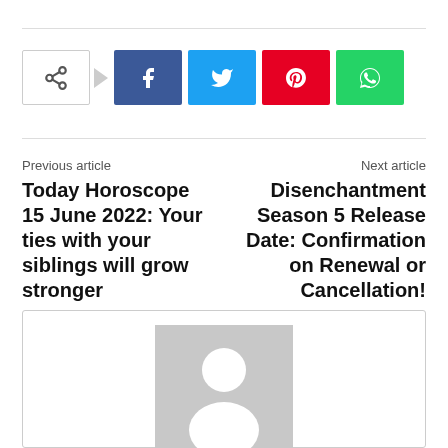[Figure (infographic): Social share bar with share icon, Facebook, Twitter, Pinterest, and WhatsApp buttons]
Previous article
Today Horoscope 15 June 2022: Your ties with your siblings will grow stronger
Next article
Disenchantment Season 5 Release Date: Confirmation on Renewal or Cancellation!
[Figure (photo): Generic author avatar placeholder image showing silhouette of a person]